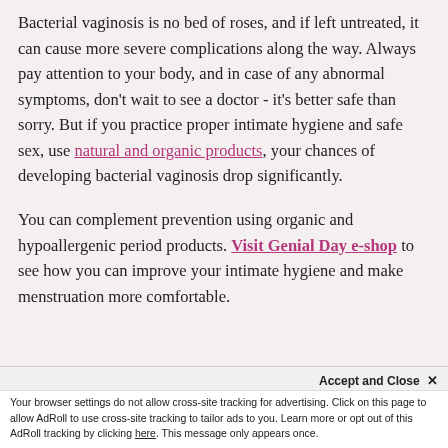Bacterial vaginosis is no bed of roses, and if left untreated, it can cause more severe complications along the way. Always pay attention to your body, and in case of any abnormal symptoms, don't wait to see a doctor - it's better safe than sorry. But if you practice proper intimate hygiene and safe sex, use natural and organic products, your chances of developing bacterial vaginosis drop significantly.
You can complement prevention using organic and hypoallergenic period products. Visit Genial Day e-shop to see how you can improve your intimate hygiene and make menstruation more comfortable.
Accept and Close ✕
Your browser settings do not allow cross-site tracking for advertising. Click on this page to allow AdRoll to use cross-site tracking to tailor ads to you. Learn more or opt out of this AdRoll tracking by clicking here. This message only appears once.